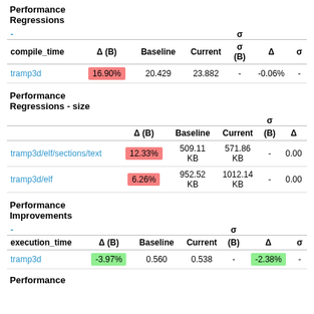Performance Regressions
| compile_time | Δ (B) | Baseline | Current | σ (B) | Δ | σ |
| --- | --- | --- | --- | --- | --- | --- |
| tramp3d | 16.90% | 20.429 | 23.882 | - | -0.06% | - |
Performance Regressions - size
|  | Δ (B) | Baseline | Current | σ (B) | Δ |
| --- | --- | --- | --- | --- | --- |
| tramp3d/elf/sections/text | 12.33% | 509.11 KB | 571.86 KB | - | 0.00 |
| tramp3d/elf | 6.26% | 952.52 KB | 1012.14 KB | - | 0.00 |
Performance Improvements
| execution_time | Δ (B) | Baseline | Current | σ (B) | Δ | σ |
| --- | --- | --- | --- | --- | --- | --- |
| tramp3d | -3.97% | 0.560 | 0.538 | - | -2.38% | - |
Performance